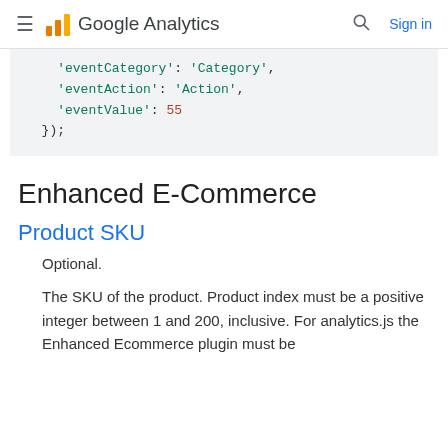Google Analytics  Sign in
'eventCategory': 'Category',
    'eventAction': 'Action',
    'eventValue': 55
});
Enhanced E-Commerce
Product SKU
Optional.
The SKU of the product. Product index must be a positive integer between 1 and 200, inclusive. For analytics.js the Enhanced Ecommerce plugin must be